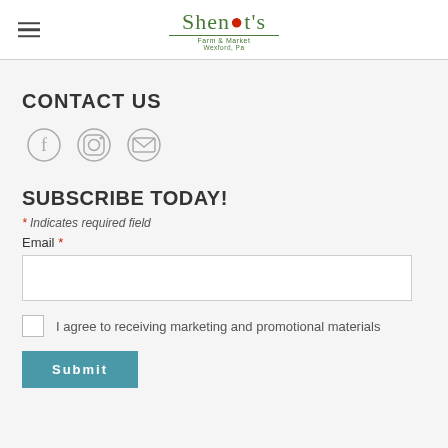Shenot's Farm & Market — Wexford, Pa
CONTACT US
[Figure (illustration): Social media icons: Facebook (f), Instagram (camera), Email (envelope)]
SUBSCRIBE TODAY!
* Indicates required field
Email *
I agree to receiving marketing and promotional materials
Submit